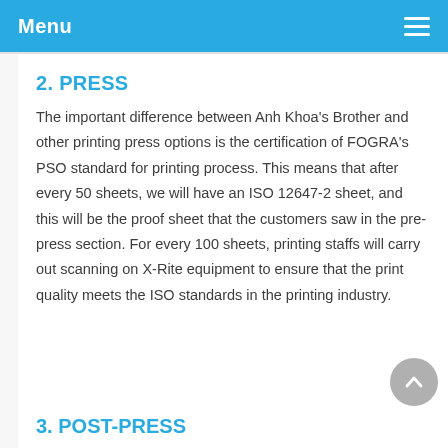Menu
2. PRESS
The important difference between Anh Khoa's Brother and other printing press options is the certification of FOGRA's PSO standard for printing process. This means that after every 50 sheets, we will have an ISO 12647-2 sheet, and this will be the proof sheet that the customers saw in the pre- press section. For every 100 sheets, printing staffs will carry out scanning on X-Rite equipment to ensure that the print quality meets the ISO standards in the printing industry.
3. POST-PRESS